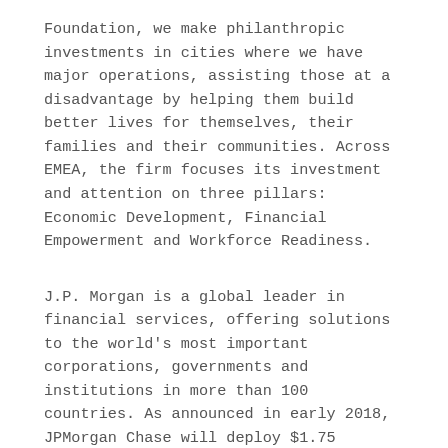Foundation, we make philanthropic investments in cities where we have major operations, assisting those at a disadvantage by helping them build better lives for themselves, their families and their communities. Across EMEA, the firm focuses its investment and attention on three pillars: Economic Development, Financial Empowerment and Workforce Readiness.
J.P. Morgan is a global leader in financial services, offering solutions to the world's most important corporations, governments and institutions in more than 100 countries. As announced in early 2018, JPMorgan Chase will deploy $1.75 billion in philanthropic capital around the world by 2023. We also lead volunteer service activities for employees in local communities by utilizing our many resources.